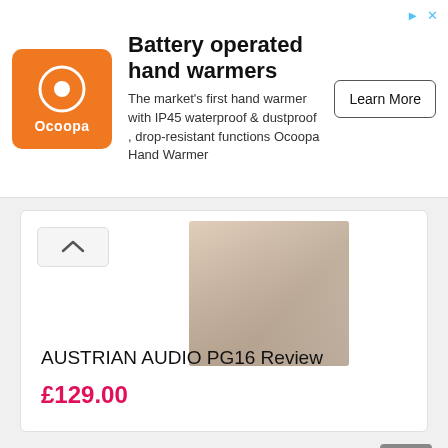[Figure (other): Ocoopa orange logo with target/location icon]
Battery operated hand warmers
The market's first hand warmer with IP45 waterproof & dustproof , drop-resistant functions Ocoopa Hand Warmer
Learn More
[Figure (photo): Person sitting at desk with headphones or audio equipment, partially visible, warm tones]
AUSTRIAN AUDIO PG16 Review
£129.00
[Figure (photo): Over-ear headphones on a desk with colorful blurred gaming/PC setup in background]